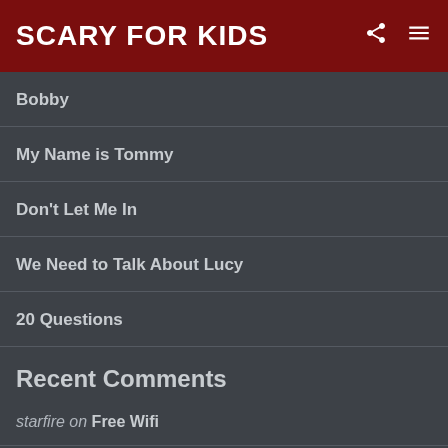SCARY FOR KIDS
Bobby
My Name is Tommy
Don't Let Me In
We Need to Talk About Lucy
20 Questions
Recent Comments
starfire on Free Wifi
thelostgirl on Door Chain
Rainbow Phantom on Drinking Water